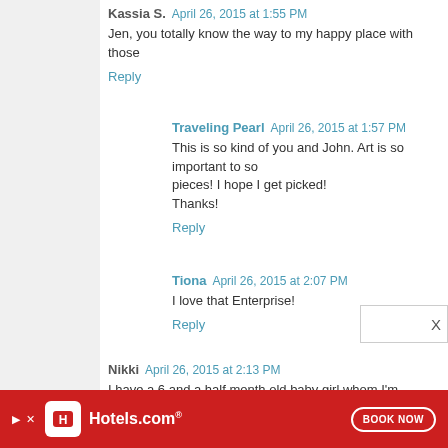Kassia S. April 26, 2015 at 1:55 PM
Jen, you totally know the way to my happy place with those
Reply
Traveling Pearl April 26, 2015 at 1:57 PM
This is so kind of you and John. Art is so important to so pieces! I hope I get picked!
Thanks!
Reply
Tiona April 26, 2015 at 2:07 PM
I love that Enterprise!
Reply
Nikki April 26, 2015 at 2:13 PM
I have a 6 and a half month old baby girl whom I'm already as well as an understanding that her gender doesn't define thing ever) and dinosaur sheets and I think the baby W
[Figure (infographic): Hotels.com advertisement banner with red background, hotel icon, Hotels.com text, and BOOK NOW button]